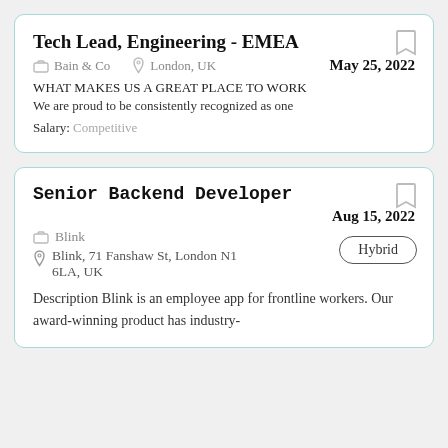Tech Lead, Engineering - EMEA
Bain & Co   London, UK   May 25, 2022
WHAT MAKES US A GREAT PLACE TO WORK
We are proud to be consistently recognized as one
Salary: Competitive
Senior Backend Developer
Blink   Aug 15, 2022
Blink, 71 Fanshaw St, London N1 6LA, UK
Hybrid
Description Blink is an employee app for frontline workers. Our award-winning product has industry-